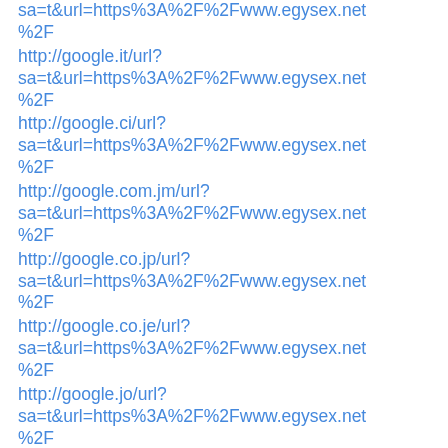sa=t&url=https%3A%2F%2Fwww.egysex.net%2F
http://google.it/url?sa=t&url=https%3A%2F%2Fwww.egysex.net%2F
http://google.ci/url?sa=t&url=https%3A%2F%2Fwww.egysex.net%2F
http://google.com.jm/url?sa=t&url=https%3A%2F%2Fwww.egysex.net%2F
http://google.co.jp/url?sa=t&url=https%3A%2F%2Fwww.egysex.net%2F
http://google.co.je/url?sa=t&url=https%3A%2F%2Fwww.egysex.net%2F
http://google.jo/url?sa=t&url=https%3A%2F%2Fwww.egysex.net%2F
http://google.kz/url?sa=t&url=https%3A%2F%2Fwww.egysex.net